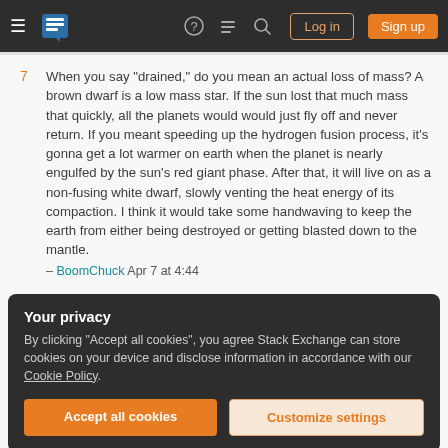Stack Exchange navigation bar with hamburger menu, logo, help, chat, search icons, Log in and Sign up buttons
7  When you say "drained," do you mean an actual loss of mass? A brown dwarf is a low mass star. If the sun lost that much mass that quickly, all the planets would would just fly off and never return. If you meant speeding up the hydrogen fusion process, it's gonna get a lot warmer on earth when the planet is nearly engulfed by the sun's red giant phase. After that, it will live on as a non-fusing white dwarf, slowly venting the heat energy of its compaction. I think it would take some handwaving to keep the earth from either being destroyed or getting blasted down to the mantle. – BoomChuck Apr 7 at 4:44
Your privacy
By clicking "Accept all cookies", you agree Stack Exchange can store cookies on your device and disclose information in accordance with our Cookie Policy.
[Accept all cookies] [Customize settings]